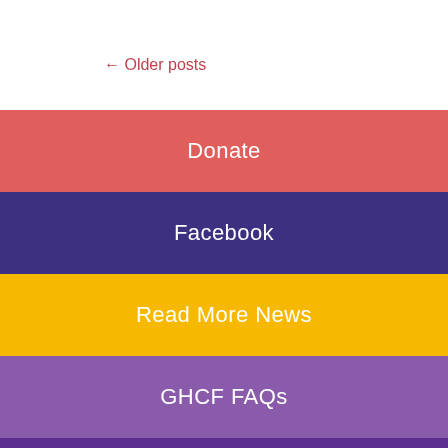← Older posts
Donate
Facebook
Read More News
GHCF FAQs
Sign Up for GHCF's Newsletter